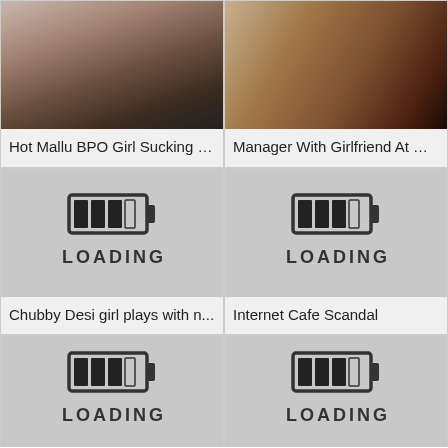[Figure (photo): Thumbnail of video: woman in car]
Hot Mallu BPO Girl Sucking …
[Figure (photo): Thumbnail of video: close-up skin in car]
Manager With Girlfriend At …
[Figure (other): Loading placeholder with battery/loading icon and text LOADING...]
Chubby Desi girl plays with n...
[Figure (other): Loading placeholder with battery/loading icon and text LOADING...]
Internet Cafe Scandal
[Figure (other): Loading placeholder with battery/loading icon and text LOADING...]
[Figure (other): Loading placeholder with battery/loading icon and text LOADING...]